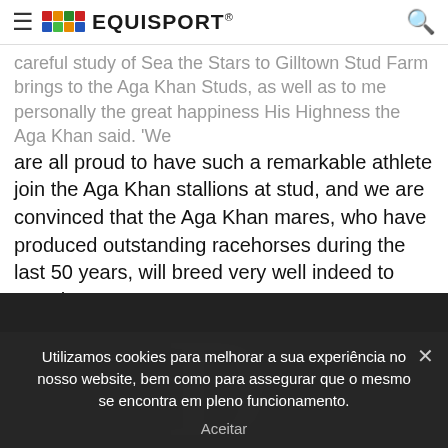EQUISPORT
careful study of Sea the Stars to Gilltown Stud Farm brings to the Aga Khan Studs, as well as to me personally the great happiness His Highness the Aga Khan said. 'We are all proud to have such a remarkable athlete join the Aga Khan stallions at stud, and we are convinced that the Aga Khan mares, who have produced outstanding racehorses during the last 50 years, will breed very well indeed to Sea the Stars.'
Partilhar isto:
[Figure (other): Social share buttons: Facebook, Twitter, WhatsApp, LinkedIn, Print]
Utilizamos cookies para melhorar a sua experiência no nosso website, bem como para assegurar que o mesmo se encontra em pleno funcionamento.
Aceitar